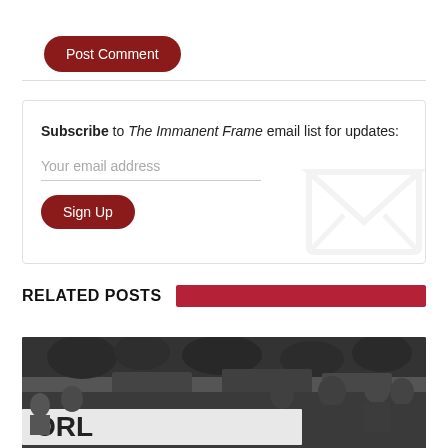Post Comment
Subscribe to The Immanent Frame email list for updates:
Your email address
Sign Up
RELATED POSTS
[Figure (photo): Black and white photograph of protesters holding a banner, with military vehicles in the background. People in the foreground appear to be at a demonstration, partially visible text on banner reads 'ORL'.]